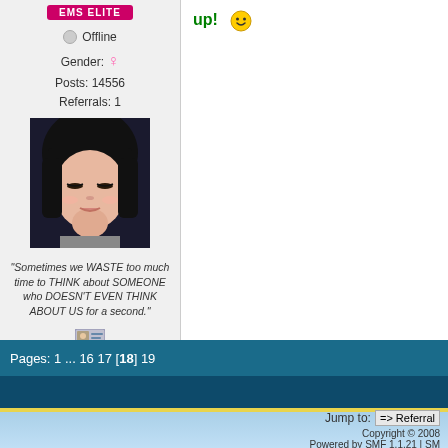[Figure (other): EMS Elite badge/banner in pink/magenta color]
Offline
Gender: ♀
Posts: 14556
Referrals: 1
[Figure (photo): Avatar photo of a young Asian woman with dark hair and bangs, looking down]
"Sometimes we WASTE too much time to THINK about SOMEONE who DOESN'T EVEN THINK ABOUT US for a second."
[Figure (other): Small profile/view profile icon]
up! 🙂
Pages: 1 ... 16 17 [18] 19
Jump to:
=> Referral
Copyright © 2008
Powered by SMF 1.1.21 | SM